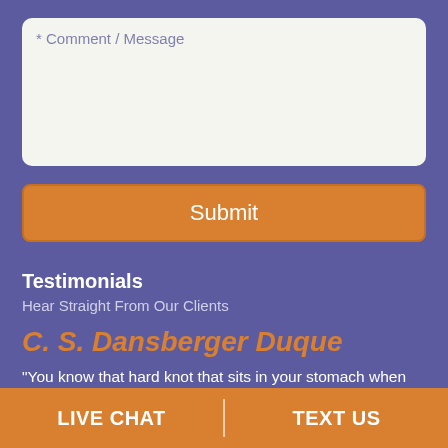* Comment / Message
Submit
Testimonials
Hear Straight From Our Clients
C. S. Dansberger Duque
"You know that hard knot that sits in your stomach when you are about to embark on a new adventure, and even though there are so many adventures of
LIVE CHAT
TEXT US